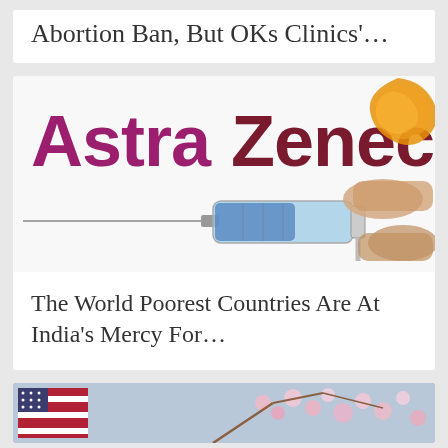Abortion Ban, But OKs Clinics'...
[Figure (photo): AstraZeneca logo with a medical syringe being held by a hand, blue vaccine visible in the syringe barrel]
The World Poorest Countries Are At India's Mercy For...
[Figure (photo): US flag and cherry blossom flowers in background]